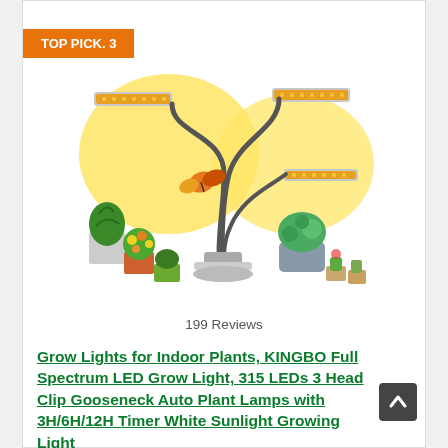TOP PICK. 3
[Figure (photo): A triple-head LED grow light on a gooseneck stand with a clamp base, illuminating multiple potted plants including succulents and flowering plants, with a butterfly visible, against a bright yellow light background.]
199 Reviews
Grow Lights for Indoor Plants, KINGBO Full Spectrum LED Grow Light, 315 LEDs 3 Head Clip Gooseneck Auto Plant Lamps with 3H/6H/12H Timer White Sunlight Growing Light